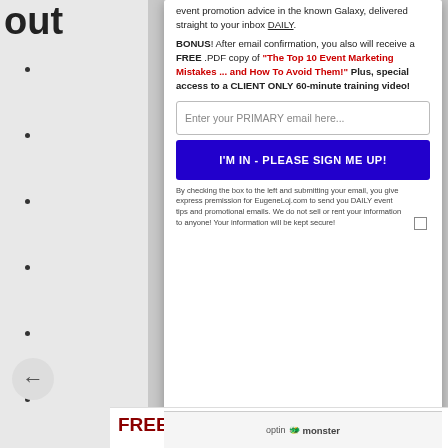•
•
•
•
•
•
•
•
•
event promotion advice in the known Galaxy, delivered straight to your inbox DAILY.
BONUS! After email confirmation, you also will receive a FREE .PDF copy of "The Top 10 Event Marketing Mistakes ... and How To Avoid Them!" Plus, special access to a CLIENT ONLY 60-minute training video!
Enter your PRIMARY email here...
I'M IN - PLEASE SIGN ME UP!
By checking the box to the left and submitting your email, you give express premission for EugeneLoj.com to send you DAILY event tips and promotional emails. We do not sell or rent your information to anyone! Your information will be kept secure!
FREE REPORT Reveals